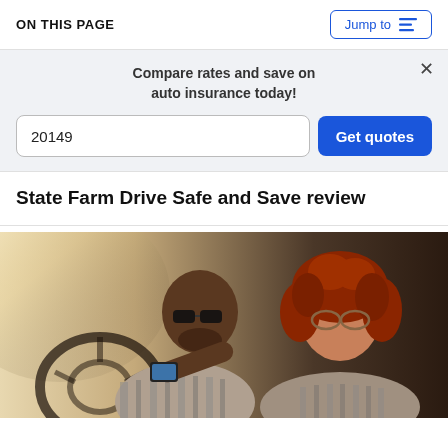ON THIS PAGE
Jump to
Compare rates and save on auto insurance today!
20149
Get quotes
State Farm Drive Safe and Save review
[Figure (photo): Two people inside a car, a man wearing sunglasses and a striped shirt looking at a smartphone with a woman with curly red hair also wearing glasses looking on.]